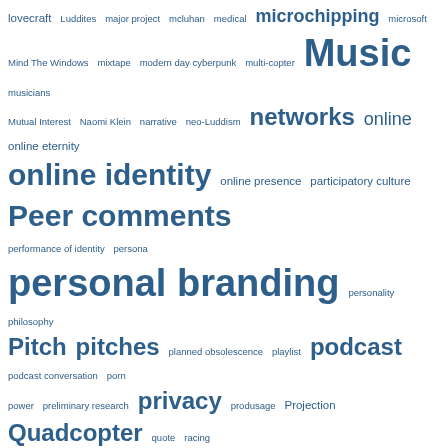[Figure (other): Word cloud containing technology, society, and digital culture related terms in various sizes and shades of blue. Larger words indicate higher frequency or importance. Terms include: lovecraft, Luddites, major project, mcluhan, medical, microchipping, microsoft, Mind The Windows, mixtape, modern day cyberpunk, multi-copter, Music, musicians, Mutual Interest, Naomi Klein, narrative, neo-Luddism, networks, online, online eternity, online identity, online presence, participatory culture, Peer comments, performance of identity, persona, personal branding, personality, philosophy, Pitch, pitches, planned obsolescence, playlist, podcast, podcast conversation, porn, power, preliminary research, privacy, produsage, Projection, Quadcopter, quote, racing, RC Car, real, reality, reflection, Relaxation, religion, Rent-A-Friend, representation of self, request, research, research report, retail, rise of influencers, Robopocalypse, robotics, Robots, second life, self-driving, Self-Driving Cars, Self-reflection, Self reflection, sentience, serie, sex, Shared Experience, shopping, short film, siri, small businesses, Social Media, social networks, society, software, souls, Sound Design, Southern Comfort, spaces, Spotify, stack, streaming, study, subject outline, surveillance, taming technology, Taylor Swift, technological reliance, technology, terminator, the constructed self, The corporate brand identity, the corporate identity, the future, The Imitation Game, the Internet of Things, The Joy of Painting, the Turing Test, ThisIsUOW, ThisIsUOWasteland, thoughts, Tom Scott, tracking, transhumanism, transmedia, trollpunk, Trust, Turing, tweeting, twitter, UAV, Unikrn, University of Wollongong, UOW, UOW Branding]